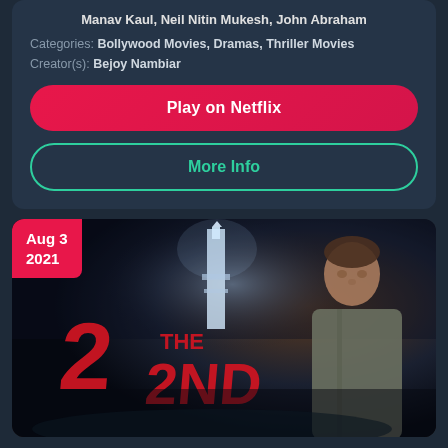Manav Kaul, Neil Nitin Mukesh, John Abraham
Categories: Bollywood Movies, Dramas, Thriller Movies
Creator(s): Bejoy Nambiar
Play on Netflix
More Info
[Figure (photo): Movie poster for 'The 2nd' showing a man in a grey jacket standing against a dark background with a lighthouse/tower, red stylized text reading '2 THE 2ND'. A red badge in top-left reads 'Aug 3 2021'.]